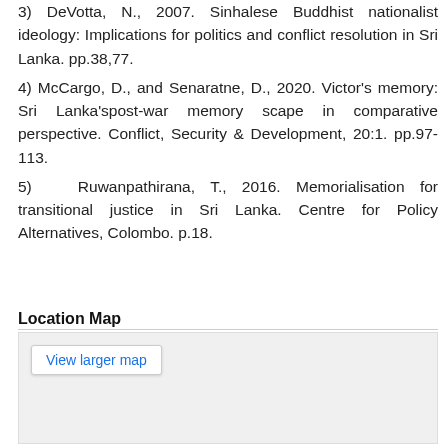3) DeVotta, N., 2007. Sinhalese Buddhist nationalist ideology: Implications for politics and conflict resolution in Sri Lanka. pp.38,77.
4) McCargo, D., and Senaratne, D., 2020. Victor's memory: Sri Lanka'spost-war memory scape in comparative perspective. Conflict, Security & Development, 20:1. pp.97-113.
5)  Ruwanpathirana, T., 2016. Memorialisation for transitional justice in Sri Lanka. Centre for Policy Alternatives, Colombo. p.18.
Location Map
[Figure (map): Embedded map area with a 'View larger map' button on a light grey background.]